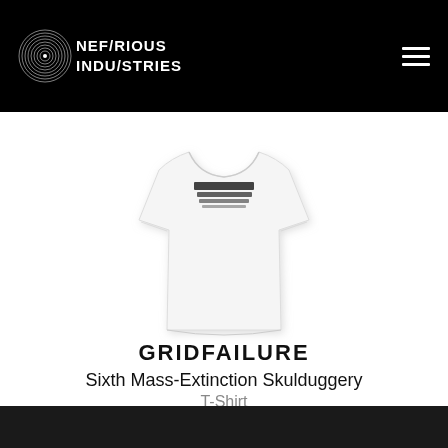NEFARIOUS INDUSTRIES
[Figure (photo): White t-shirt product photo with dark graphic print near the neckline, shown folded/laid flat against white background]
GRIDFAILURE
Sixth Mass-Extinction Skulduggery
T-Shirt
from $25.00